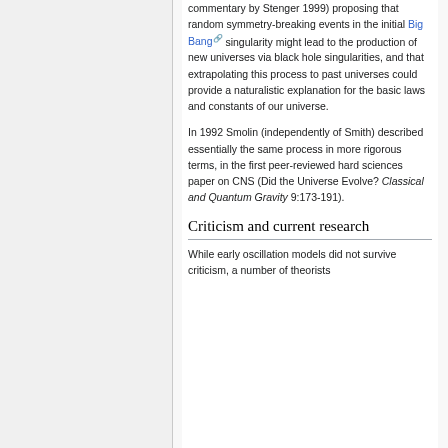commentary by Stenger 1999) proposing that random symmetry-breaking events in the initial Big Bang singularity might lead to the production of new universes via black hole singularities, and that extrapolating this process to past universes could provide a naturalistic explanation for the basic laws and constants of our universe.
In 1992 Smolin (independently of Smith) described essentially the same process in more rigorous terms, in the first peer-reviewed hard sciences paper on CNS (Did the Universe Evolve? Classical and Quantum Gravity 9:173-191).
Criticism and current research
While early oscillation models did not survive criticism, a number of theorists